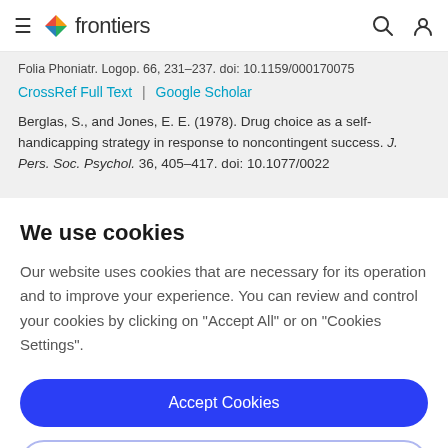frontiers
Folia Phoniatr. Logop. 66, 231–237. doi: 10.1159/0001/0075
CrossRef Full Text | Google Scholar
Berglas, S., and Jones, E. E. (1978). Drug choice as a self-handicapping strategy in response to noncontingent success. J. Pers. Soc. Psychol. 36, 405–417. doi: 10.1037/0022
We use cookies
Our website uses cookies that are necessary for its operation and to improve your experience. You can review and control your cookies by clicking on "Accept All" or on "Cookies Settings".
Accept Cookies
Cookies Settings